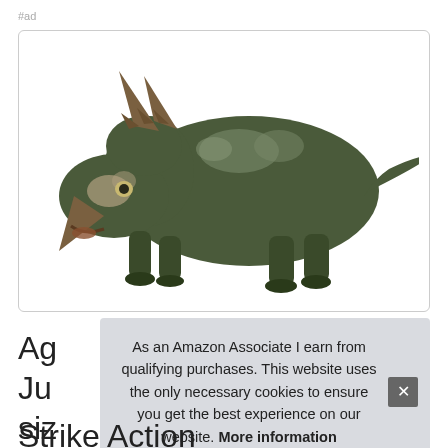#ad
[Figure (photo): A Jurassic World Triceratops dinosaur toy figure in dark olive green with brown horns and cream/tan speckled markings, shown in profile view against a white background inside a bordered image box.]
Ag
Ju
siz
As an Amazon Associate I earn from qualifying purchases. This website uses the only necessary cookies to ensure you get the best experience on our website. More information
Strike Action